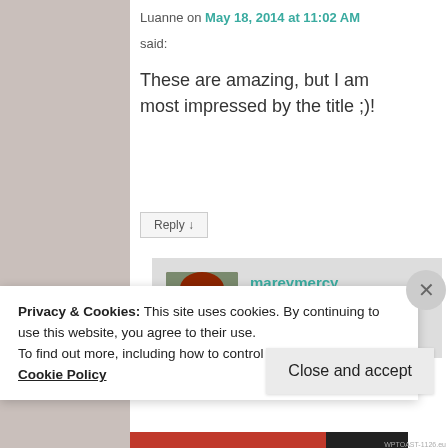Luanne on May 18, 2014 at 11:02 AM
said:
These are amazing, but I am most impressed by the title ;)!
Reply ↓
mareymercy on May 18, 2014 at 2:11 PM said:
Privacy & Cookies: This site uses cookies. By continuing to use this website, you agree to their use. To find out more, including how to control cookies, see here: Cookie Policy
Close and accept